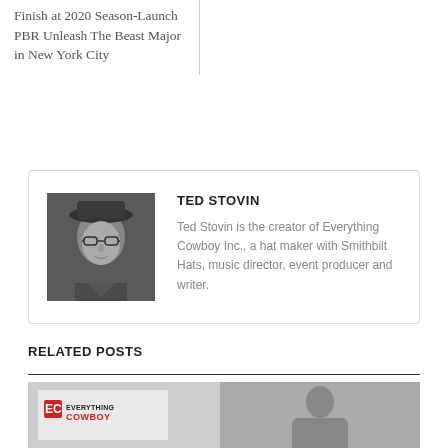Finish at 2020 Season-Launch PBR Unleash The Beast Major in New York City
[Figure (photo): Black and white portrait photo of Ted Stovin wearing a hat and glasses]
TED STOVIN
Ted Stovin is the creator of Everything Cowboy Inc., a hat maker with Smithbilt Hats, music director, event producer and writer.
RELATED POSTS
[Figure (photo): Thumbnail image showing Everything Cowboy logo on left and a person's face on right]